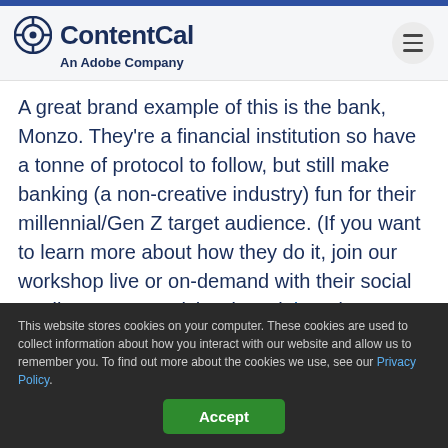[Figure (logo): ContentCal logo with icon and text 'ContentCal An Adobe Company']
A great brand example of this is the bank, Monzo. They're a financial institution so have a tonne of protocol to follow, but still make banking (a non-creative industry) fun for their millennial/Gen Z target audience. (If you want to learn more about how they do it, join our workshop live or on-demand with their social media manager, Richard Cook here!)
This website stores cookies on your computer. These cookies are used to collect information about how you interact with our website and allow us to remember you. To find out more about the cookies we use, see our Privacy Policy.